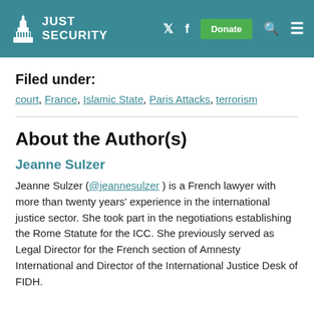JUST SECURITY
Filed under:
court, France, Islamic State, Paris Attacks, terrorism
About the Author(s)
Jeanne Sulzer
Jeanne Sulzer (@jeannesulzer) is a French lawyer with more than twenty years' experience in the international justice sector. She took part in the negotiations establishing the Rome Statute for the ICC. She previously served as Legal Director for the French section of Amnesty International and Director of the International Justice Desk of FIDH.